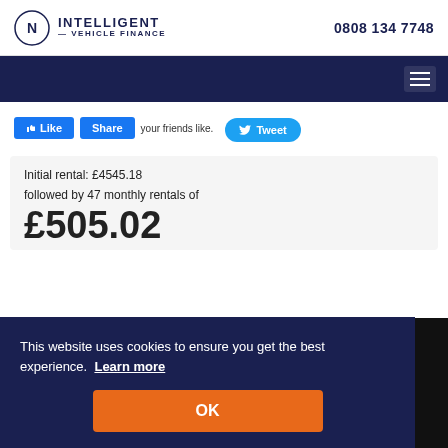INTELLIGENT VEHICLE FINANCE | 0808 134 7748
[Figure (screenshot): Dark navy navigation bar with hamburger menu icon on the right]
[Figure (screenshot): Facebook Like and Share buttons with Twitter Tweet button and social sharing text]
Initial rental: £4545.18
followed by 47 monthly rentals of
£505.02
This website uses cookies to ensure you get the best experience. Learn more
Initial rental: £4545.18 inc VAT
47 monthly rentals of £505.02 inc VAT